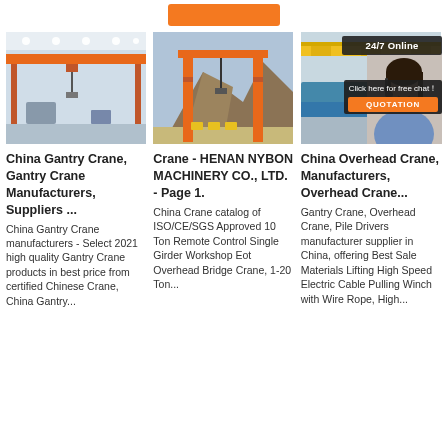[Figure (screenshot): Orange button/banner at top center of page]
[Figure (photo): Indoor overhead/gantry crane with orange beam in a factory warehouse]
[Figure (photo): Orange gantry crane outdoors with rocky mountain in background]
[Figure (photo): Yellow overhead crane in industrial facility, partially overlaid with 24/7 online chat widget and female customer service representative]
China Gantry Crane, Gantry Crane Manufacturers, Suppliers ...
China Gantry Crane manufacturers - Select 2021 high quality Gantry Crane products in best price from certified Chinese Crane, China Gantry...
Crane - HENAN NYBON MACHINERY CO., LTD. - Page 1.
China Crane catalog of ISO/CE/SGS Approved 10 Ton Remote Control Single Girder Workshop Eot Overhead Bridge Crane, 1-20 Ton...
China Overhead Crane, Overhead Crane Manufacturers, Overhead Crane...
Gantry Crane, Overhead Crane, Pile Drivers manufacturer supplier in China, offering Best Sale Materials Lifting High Speed Electric Cable Pulling Winch with Wire Rope, High...